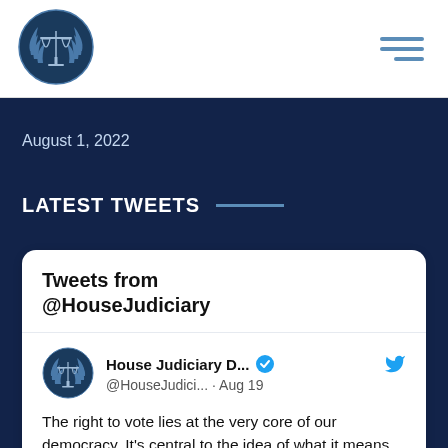[Figure (logo): House Judiciary Committee circular seal with scales of justice and laurel wreath]
House Judiciary Committee website header with logo and hamburger menu
August 1, 2022
LATEST TWEETS
Tweets from @HouseJudiciary
House Judiciary D... @HouseJudici... · Aug 19
The right to vote lies at the very core of our democracy. It's central to the idea of what it means to be an American.